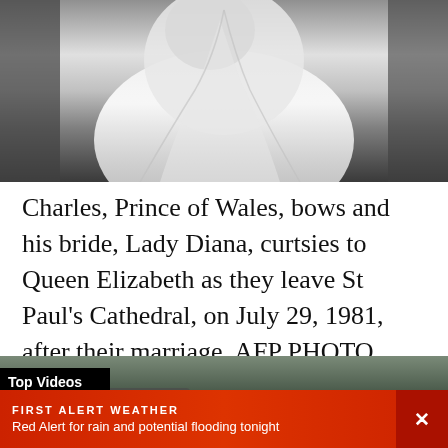[Figure (photo): Black and white photograph showing a figure in white dress/veil, cropped at top of page]
Charles, Prince of Wales, bows and his bride, Lady Diana, curtsies to Queen Elizabeth as they leave St Paul's Cathedral, on July 29, 1981, after their marriage. AFP PHOTO (Photo credit should read ARCHIVE/AFP/Getty Images)
[Figure (screenshot): Top Videos section showing video thumbnail of flooded area with car submerged]
FIRST ALERT WEATHER
Red Alert for rain and potential flooding tonight